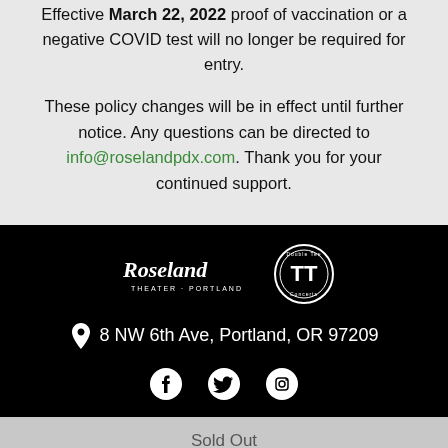Effective March 22, 2022 proof of vaccination or a negative COVID test will no longer be required for entry.
These policy changes will be in effect until further notice. Any questions can be directed to info@roselandpdx.com. Thank you for your continued support.
[Figure (logo): Roseland Theater logo and Double Tee Concerts logo side by side on black background]
8 NW 6th Ave, Portland, OR 97209
[Figure (infographic): Social media icons: Facebook, Twitter, Instagram]
Sold Out